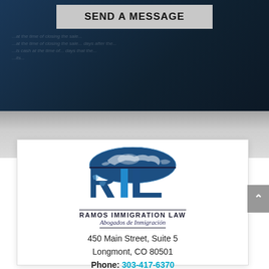SEND A MESSAGE
[Figure (photo): Dark blue-tinted background with blurred legal documents]
[Figure (logo): RIL Ramos Immigration Law logo with globe graphic above stylized letters R, I, L in blue]
RAMOS IMMIGRATION LAW
Abogados de Inmigración
450 Main Street, Suite 5
Longmont, CO 80501
Phone: 303-417-6370